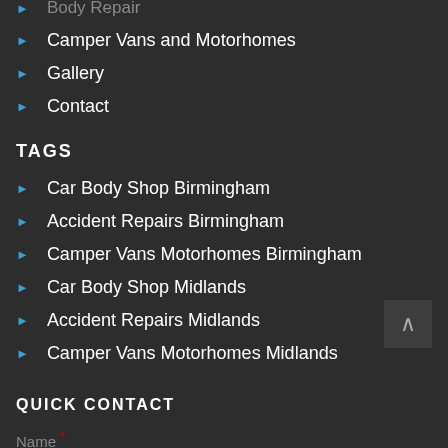Camper Vans and Motorhomes
Gallery
Contact
TAGS
Car Body Shop Birmingham
Accident Repairs Birmingham
Camper Vans Motorhomes Birmingham
Car Body Shop Midlands
Accident Repairs Midlands
Camper Vans Motorhomes Midlands
QUICK CONTACT
Name *